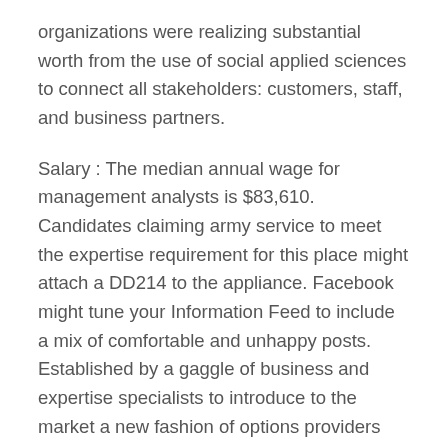organizations were realizing substantial worth from the use of social applied sciences to connect all stakeholders: customers, staff, and business partners.
Salary : The median annual wage for management analysts is $83,610. Candidates claiming army service to meet the expertise requirement for this place might attach a DD214 to the appliance. Facebook might tune your Information Feed to include a mix of comfortable and unhappy posts. Established by a gaggle of business and expertise specialists to introduce to the market a new fashion of options providers that merges business information with the state-of-the-art know-how.